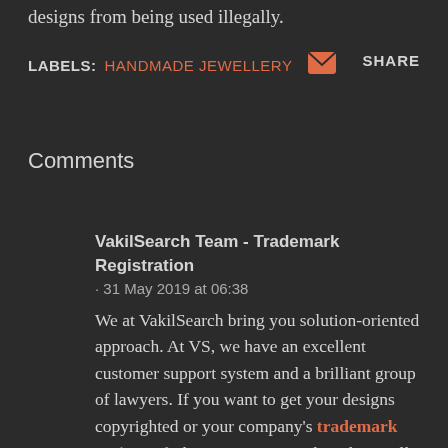designs from being used illegally.
LABELS: HANDMADE JEWELLERY [mail icon] SHARE
Comments
VakilSearch Team - Trademark Registration · 31 May 2019 at 06:38
We at VakilSearch bring you solution-oriented approach. At VS, we have an excellent customer support system and a brilliant group of lawyers. If you want to get your designs copyrighted or your company's trademark registered, then getting in touch with us will be the best way to take things forward. You will be able to